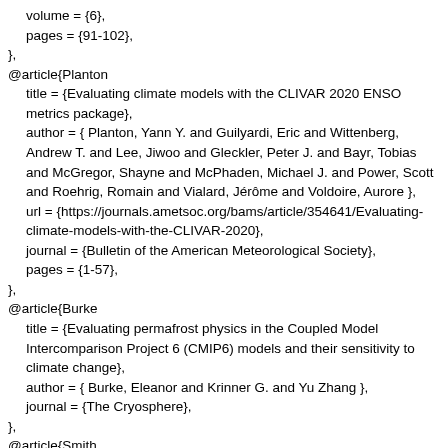volume = {6},
  pages = {91-102},
},
@article{Planton
  title = {Evaluating climate models with the CLIVAR 2020 ENSO metrics package},
  author = { Planton, Yann Y. and Guilyardi, Eric and Wittenberg, Andrew T. and Lee, Jiwoo and Gleckler, Peter J. and Bayr, Tobias and McGregor, Shayne and McPhaden, Michael J. and Power, Scott and Roehrig, Romain and Vialard, Jérôme and Voldoire, Aurore },
  url = {https://journals.ametsoc.org/bams/article/354641/Evaluating-climate-models-with-the-CLIVAR-2020},
  journal = {Bulletin of the American Meteorological Society},
  pages = {1-57},
},
@article{Burke
  title = {Evaluating permafrost physics in the Coupled Model Intercomparison Project 6 (CMIP6) models and their sensitivity to climate change},
  author = { Burke, Eleanor and Krinner G. and Yu Zhang },
  journal = {The Cryosphere},
},
@article{Smith